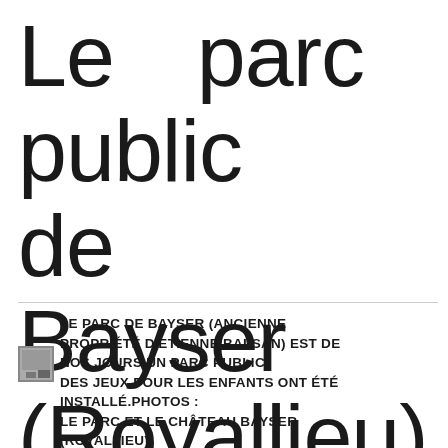Le parc public de Bayser (Royallieu).
LE PARC DE BAYSER (ANCIENNE PROPRIÉTÉ D'ETIENNE BALSAN) EST DE NOS JOURS UN PARC PUBLIC. DES JEUX POUR LES ENFANTS ONT ÉTÉ INSTALLÉ.PHOTOS : LE PARC ET LE CHÂTEAU BAYSER (ROYALLIEU).